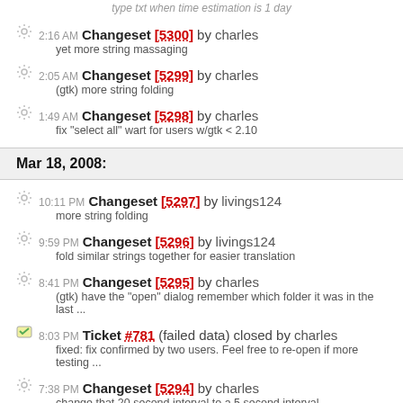type txt when time estimation is 1 day
2:16 AM Changeset [5300] by charles — yet more string massaging
2:05 AM Changeset [5299] by charles — (gtk) more string folding
1:49 AM Changeset [5298] by charles — fix "select all" wart for users w/gtk < 2.10
Mar 18, 2008:
10:11 PM Changeset [5297] by livings124 — more string folding
9:59 PM Changeset [5296] by livings124 — fold similar strings together for easier translation
8:41 PM Changeset [5295] by charles — (gtk) have the "open" dialog remember which folder it was in the last ...
8:03 PM Ticket #781 (failed data) closed by charles — fixed: fix confirmed by two users. Feel free to re-open if more testing ...
7:38 PM Changeset [5294] by charles — change that 20 second interval to a 5 second interval
7:34 PM Changeset [5293] by charles — demote the nat-pmp 'try again' message to dbg